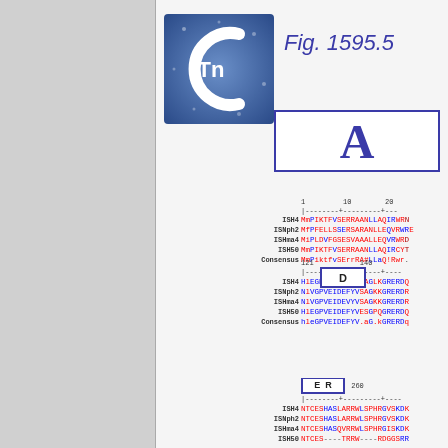[Figure (logo): ClinicalTrials / Tn logo: blue square with white C and Tn text]
Fig. 1595.5
[Figure (infographic): Sequence alignment of ISH4, ISNph2, ISHma4, ISH50 and Consensus rows with colored residues (red/blue), ruler lines showing positions 1,10,20 and 121,140 and 260, with D, E, R domain boxes highlighted]
A
ISH4  MmPIKTFVSERRAANLLAQIRWR
ISNph2  MfPFELLSSERSARANLLEQVRWR
ISHma4  MiPLDVFGSESVAAALLEQVRWR
ISH50  MmPIKTFVSERRANLLAQIRCY
Consensus  MmPiktfvSErrRA#LlaQ!Rwr
D
ISH4  hLEGPVEIDEFYVKAGLKGRERDQ
ISNph2  NlVGPVEIDEFYVSAGKKGRERDR
ISHma4  NlVGPVEIDEVYVSAGKKGRERDR
ISH50  HlEGPVEIDEFYVESGPQGRERDQ
Consensus  hLeGPVEIDEFYV.aG.kGRERDq
E R
ISH4  NTCESHASLARRWLSPHRG VSKDK
ISNph2  NTCESHASLARRWLSPHRG VSKDK
ISHma4  NTCESHASQVRRWLSPHRG ISKDK
ISH50  NTCES----TRRW----RDGGSRR